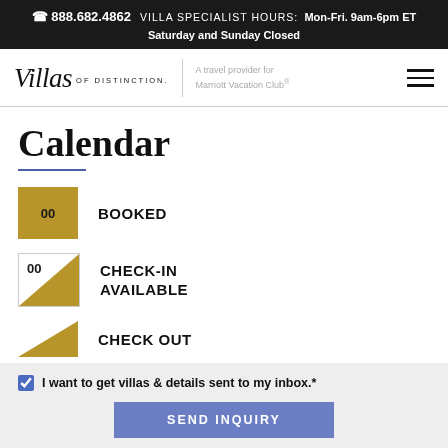☎ 888.682.4862  VILLA SPECIALIST HOURS: Mon-Fri. 9am-6pm ET
Saturday and Sunday Closed
[Figure (logo): Villas of Distinction logo with tagline 'A travel provider for Marriott Vacation Club®' and hamburger menu icon]
Calendar
BOOKED
CHECK-IN AVAILABLE
CHECK OUT
I want to get villas & details sent to my inbox.*
SEND INQUIRY